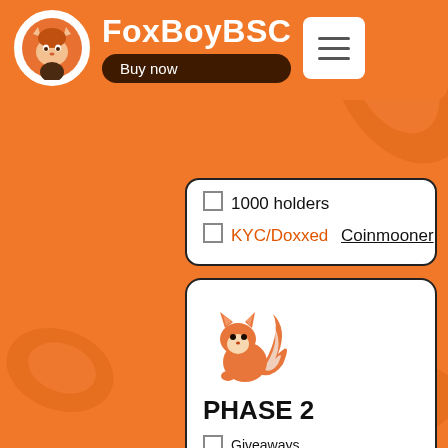FoxBoyBSC — Buy now
✅ 1000 holders
✅ KYC/Doxxed Coinmooner
[Figure (logo): Orange fox logo illustration]
PHASE 2
✅ Giveaways
✅ Paid YouTube promoting
✅ Marketing competitions
✅ CMC & CG listings
✅ 2500 Telegram Members
○ 2500 holders
○ 1st NFT Launch